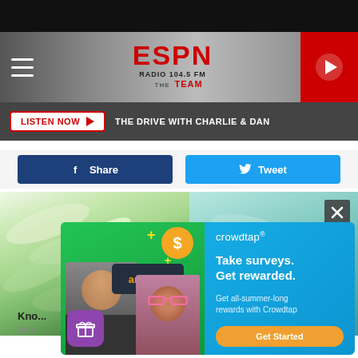[Figure (screenshot): ESPN Radio 104.5 FM The Team website header with hamburger menu, ESPN logo, and red play button]
LISTEN NOW ▶  THE DRIVE WITH CHARLIE & DAN
f Share   🐦 Tweet
[Figure (photo): Two photos of bananas side by side - white/light green bananas on left, blue-tinted bananas on right]
Kno...
Ban...
[Figure (infographic): Crowdtap advertisement: Take surveys. Get rewarded. Get all-summer-long rewards with Crowdtap. Get Started button. Shows person, Amazon card, dollar coin, gift icon, and girl with sunglasses on green background.]